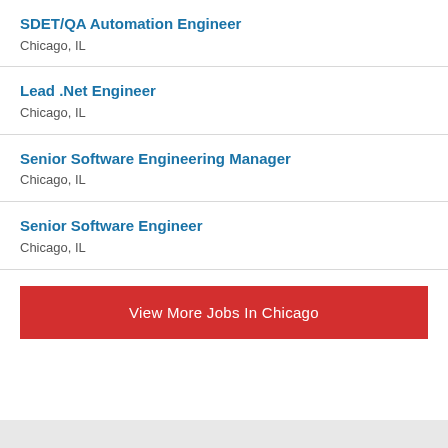SDET/QA Automation Engineer
Chicago, IL
Lead .Net Engineer
Chicago, IL
Senior Software Engineering Manager
Chicago, IL
Senior Software Engineer
Chicago, IL
View More Jobs In Chicago